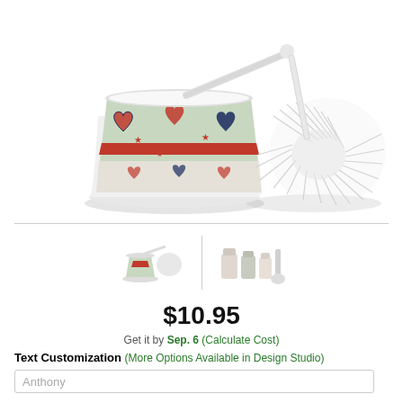[Figure (photo): Patriotic American flag heart-patterned ceramic toilet brush holder with white toilet brush beside it. The holder is white ceramic with decorative hearts made of American flag pattern and red stars on a light green/mint background with a red band in the middle.]
[Figure (photo): Small thumbnail of the toilet brush and holder set]
[Figure (photo): Small thumbnail showing the product in a bathroom setting with multiple accessories]
$10.95
Get it by Sep. 6 (Calculate Cost)
Text Customization (More Options Available in Design Studio)
Anthony